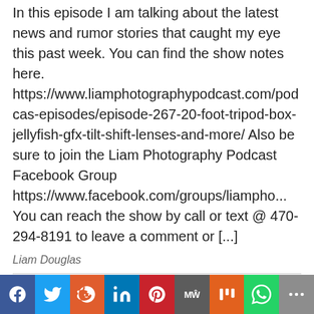In this episode I am talking about the latest news and rumor stories that caught my eye this past week. You can find the show notes here. https://www.liamphotographypodcast.com/podcast-episodes/episode-267-20-foot-tripod-box-jellyfish-gfx-tilt-shift-lenses-and-more/ Also be sure to join the Liam Photography Podcast Facebook Group https://www.facebook.com/groups/liampho... You can reach the show by call or text @ 470-294-8191 to leave a comment or [...]
Liam Douglas
Episode 266: Focus Peaking
August 4, 2022
[Figure (other): Social sharing bar with icons for Facebook, Twitter, Reddit, LinkedIn, Pinterest, MeWe, Mix, WhatsApp, and More]